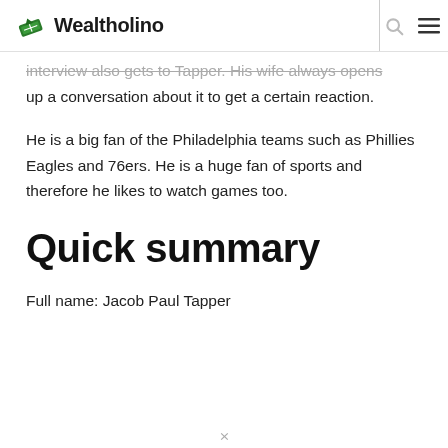Wealtholino
interview also gets to Tapper. His wife always opens up a conversation about it to get a certain reaction.
He is a big fan of the Philadelphia teams such as Phillies Eagles and 76ers. He is a huge fan of sports and therefore he likes to watch games too.
Quick summary
Full name: Jacob Paul Tapper